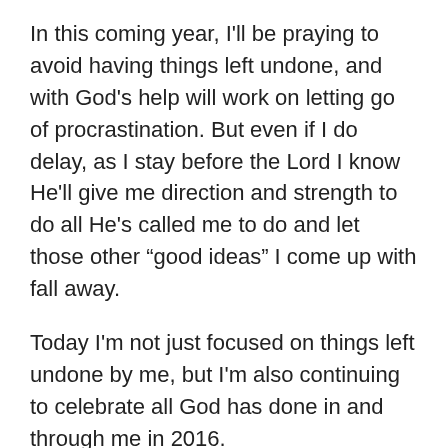In this coming year, I'll be praying to avoid having things left undone, and with God's help will work on letting go of procrastination. But even if I do delay, as I stay before the Lord I know He'll give me direction and strength to do all He's called me to do and let those other “good ideas” I come up with fall away.
Today I'm not just focused on things left undone by me, but I'm also continuing to celebrate all God has done in and through me in 2016.
As far as things left undone at Christmas time, with a little adjustment I can still do each one. It's my own notion that they can only be done during the holiday season.
I rejoice that I serve a God who doesn’t leave things left undone, even though my flesh insists He’s taking too long,